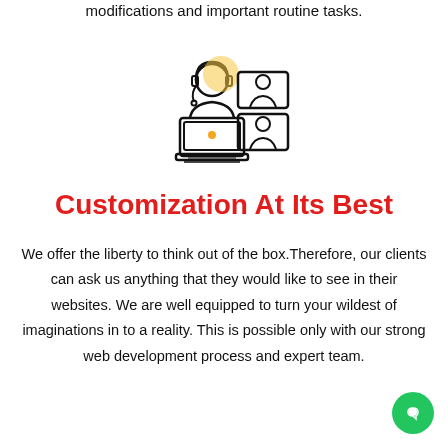modifications and important routine tasks.
[Figure (illustration): Icon of a person with a headset working on a laptop, with two small video call frames on the right showing people, suggesting remote collaboration or customer support.]
Customization At Its Best
We offer the liberty to think out of the box.Therefore, our clients can ask us anything that they would like to see in their websites. We are well equipped to turn your wildest of imaginations in to a reality. This is possible only with our strong web development process and expert team.